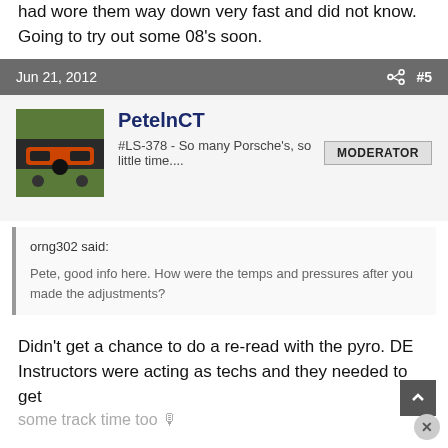had wore them way down very fast and did not know. Going to try out some 08's soon.
Jun 21, 2012   #5
PetelnCT
#LS-378 - So many Porsche's, so little time....   MODERATOR
orng302 said:
Pete, good info here. How were the temps and pressures after you made the adjustments?
Didn't get a chance to do a re-read with the pyro. DE Instructors were acting as techs and they needed to get
some track time too 🔊